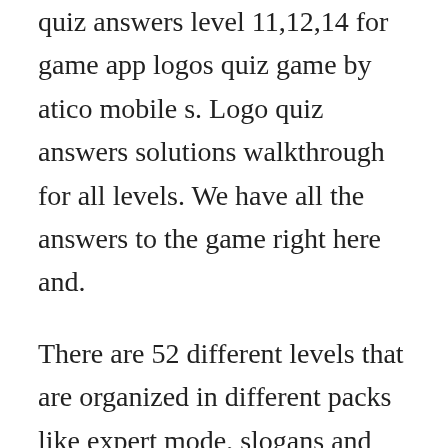quiz answers level 11,12,14 for game app logos quiz game by atico mobile s. Logo quiz answers solutions walkthrough for all levels. We have all the answers to the game right here and.
There are 52 different levels that are organized in different packs like expert mode, slogans and minimalist. Fans of the game will love this new emoji guessing trivia game. Guess brand logos level 21 answer walkthrough duration. The game is also divided up into level packs where you can choose specific countries or just play the